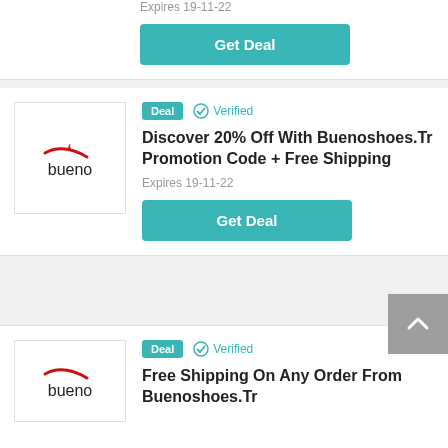Expires 19-11-22
Get Deal
[Figure (logo): Bueno shoes brand logo with red swoosh and text 'bueno']
Deal  ✓ Verified
Discover 20% Off With Buenoshoes.Tr Promotion Code + Free Shipping
Expires 19-11-22
Get Deal
[Figure (logo): Bueno shoes brand logo with red swoosh and text 'bueno']
Deal  ✓ Verified
Free Shipping On Any Order From Buenoshoes.Tr